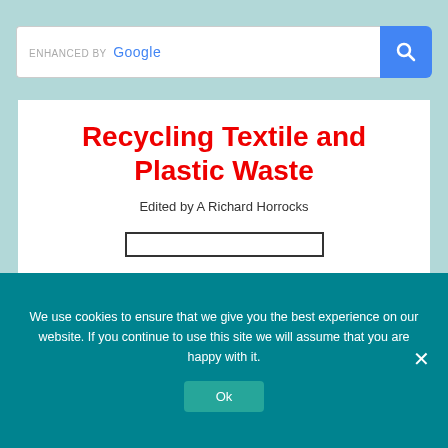[Figure (screenshot): Google search bar with 'ENHANCED BY Google' text and blue search button with magnifying glass icon]
Recycling Textile and Plastic Waste
Edited by A Richard Horrocks
[Figure (other): Book cover image placeholder — white rectangle with dark border]
We use cookies to ensure that we give you the best experience on our website. If you continue to use this site we will assume that you are happy with it.
Ok